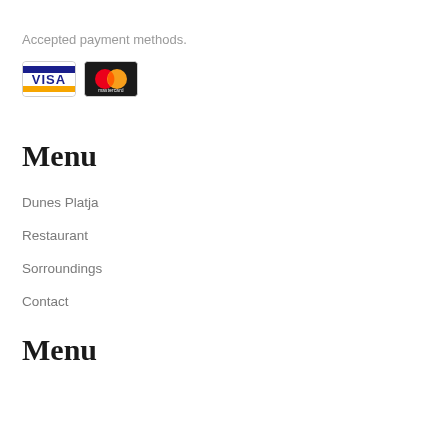Accepted payment methods.
[Figure (logo): Visa and Mastercard payment method icons]
Menu
Dunes Platja
Restaurant
Sorroundings
Contact
Menu